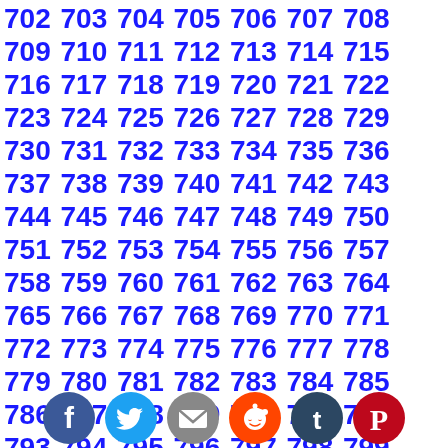702 703 704 705 706 707 708 709 710 711 712 713 714 715 716 717 718 719 720 721 722 723 724 725 726 727 728 729 730 731 732 733 734 735 736 737 738 739 740 741 742 743 744 745 746 747 748 749 750 751 752 753 754 755 756 757 758 759 760 761 762 763 764 765 766 767 768 769 770 771 772 773 774 775 776 777 778 779 780 781 782 783 784 785 786 787 788 789 790 791 792 793 794 795 796 797 798 799 800 801 802 803 804 805 806 807 808 809 810 811 812 813 814 815 816 817 818 819 820 821 822 823 824 825 826 827 828 829 830 831 832 833 834 835 836 837 838 839 840 841 842 843 844 845 846 847 848 849 850 851 852 853 854 855 856 857 858 859 860 861 862 863 864 865 866 867 868 869 870 871 872 873 874 875 876 877 878 879 880 881 882 883 884 885 886 887 888 889 890 891 892 893 894 895 896 897 898 899 900 901 902 903 904 905 906 907 908 909 910 911 912 913 914 915 916 917 918 919 920 921 922 923 924 925
[Figure (illustration): Social media sharing icons row: Facebook (blue circle with f), Twitter (cyan circle with bird), Email (gray circle with envelope), Reddit (orange circle with alien), Tumblr (dark circle with t), Pinterest (red circle with P)]